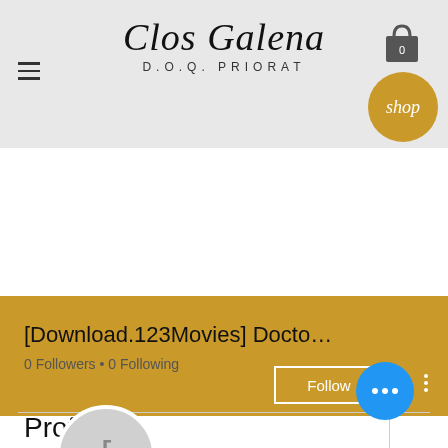[Figure (screenshot): Clos Galena D.O.Q. Priorat website header with script logo, hamburger menu, shopping bag icon, and gold shop circle]
[Figure (screenshot): Golden/amber banner background with Follow button and vertical three-dot menu]
[Figure (screenshot): Gray circular avatar/profile icon with bracket character]
[Download.123Movies] Docto…
0 Followers • 0 Following
Profile
[Figure (screenshot): Blue circular FAB button with three white dots]